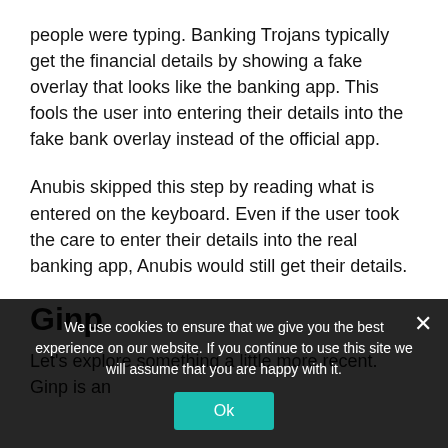people were typing. Banking Trojans typically get the financial details by showing a fake overlay that looks like the banking app. This fools the user into entering their details into the fake bank overlay instead of the official app.
Anubis skipped this step by reading what is entered on the keyboard. Even if the user took the care to enter their details into the real banking app, Anubis would still get their details.
Ginp
Let's explore something a little more recent. Ginp is an
We use cookies to ensure that we give you the best experience on our website. If you continue to use this site we will assume that you are happy with it.